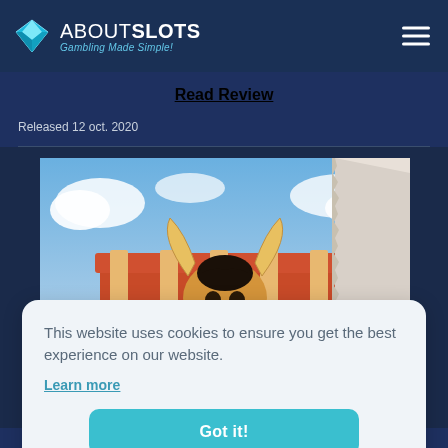ABOUTSLOTS - Gambling Made Simple!
Read Review
Released 12 oct. 2020
[Figure (illustration): Animated game character with bull horns and dark hair against a colorful backdrop with desert/arena scenery]
This website uses cookies to ensure you get the best experience on our website.
Learn more
Got it!